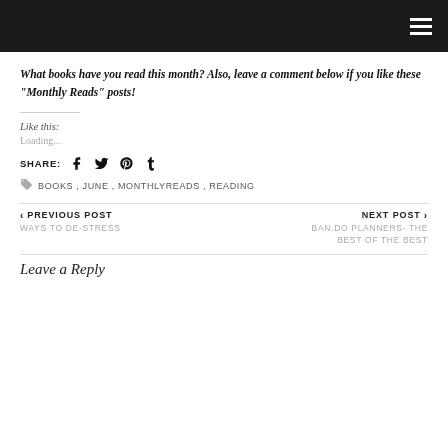What books have you read this month? Also, leave a comment below if you like these “Monthly Reads” posts!
Like this:
Loading...
SHARE: [social icons: Facebook, Twitter, Pinterest, Tumblr]
BOOKS, JUNE, MONTHLYREADS, READING
< PREVIOUS POST
WAYS TO DE-STRESS
NEXT POST >
BAN.DO PLANNERS- THE BEST OF THE BEST
Leave a Reply